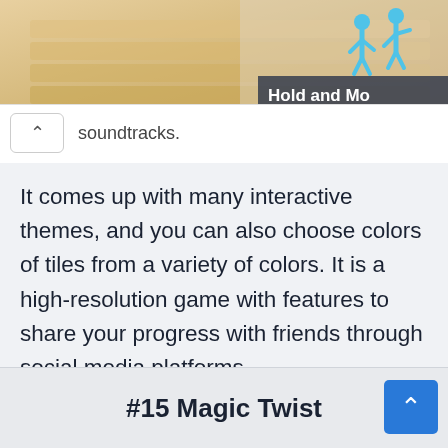[Figure (screenshot): Top image strip showing a game screenshot with two blue human figures and a partial label 'Hold and Mo...' overlaid]
soundtracks.
It comes up with many interactive themes, and you can also choose colors of tiles from a variety of colors. It is a high-resolution game with features to share your progress with friends through social media platforms.
[Figure (logo): Apple (iOS) logo icon]
SHOW DETAILS
#15 Magic Twist